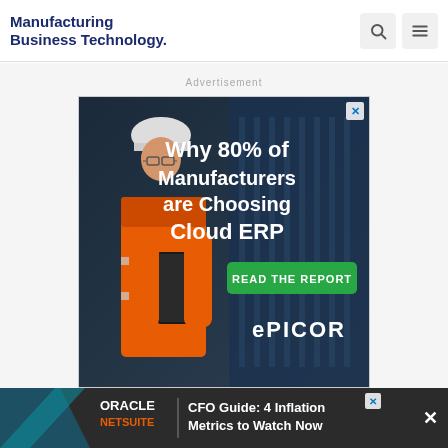Manufacturing Business Technology
Advertisement
[Figure (screenshot): Epicor Cloud ERP advertisement showing a female manufacturing worker in an orange safety jacket and hard hat holding a tablet, with text 'Why 80% of Manufacturers are Choosing Cloud ERP' and a green 'READ THE REPORT' button, Epicor logo at bottom]
[Figure (screenshot): Oracle NetSuite banner advertisement: 'CFO Guide: 4 Inflation Metrics to Watch Now' with close button X]